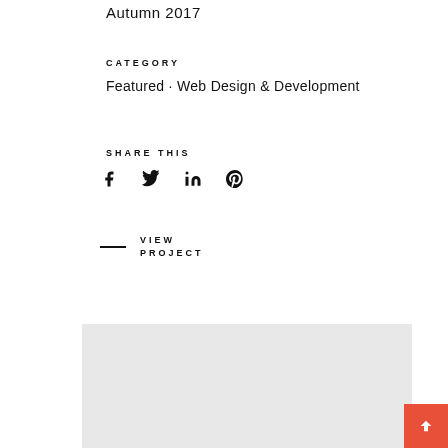Autumn 2017
CATEGORY
Featured · Web Design & Development
SHARE THIS
[Figure (other): Social media share icons: Facebook, Twitter, LinkedIn, Pinterest]
VIEW PROJECT
[Figure (photo): Light gray image block showing a partial project preview]
[Figure (other): Red back-to-top button with upward chevron arrow in bottom right corner]